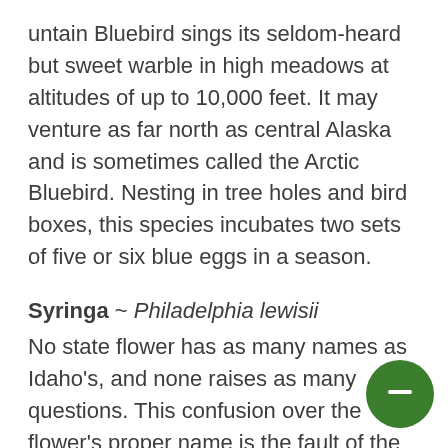untain Bluebird sings its seldom-heard but sweet warble in high meadows at altitudes of up to 10,000 feet. It may venture as far north as central Alaska and is sometimes called the Arctic Bluebird. Nesting in tree holes and bird boxes, this species incubates two sets of five or six blue eggs in a season.
Syringa ~ Philadelphia lewisii
No state flower has as many names as Idaho's, and none raises as many questions. This confusion over the flower's proper name is the fault of the old herbalists who united jasmine, mock orange, and lilac under once classification, Syringa. The kind of Syringa chosen as Idaho's state flower grows to twelve feet in height. In early summer it is covered with masses of fragrant white flowers. Glistening petals surround numerous bright yellow stam After the flower's four petals fall, the green seed capsule, set in a cup made by four sepals, continues